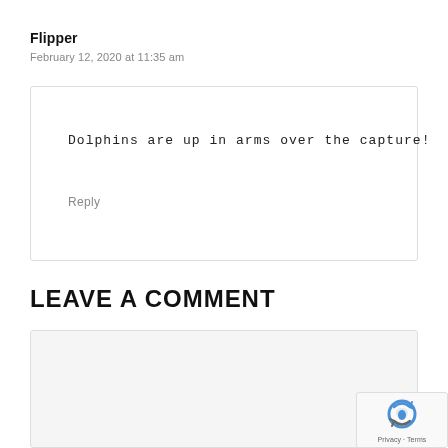Flipper
February 12, 2020 at 11:35 am
Dolphins are up in arms over the capture!
Reply
LEAVE A COMMENT
[Figure (other): Comment text area input box (empty), with reCAPTCHA badge in the lower right corner showing Privacy and Terms text]